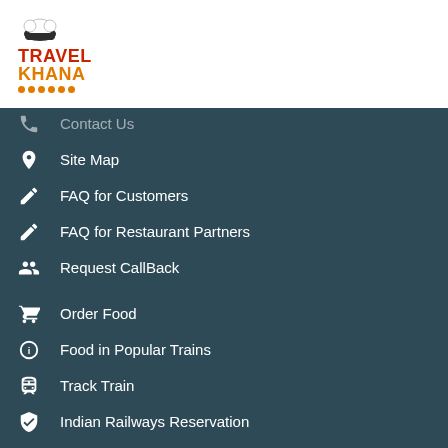[Figure (logo): Travel Khana logo with chef hat icon, TRAVEL in red and KHANA in orange with decorative dots]
Contact Us
Site Map
FAQ for Customers
FAQ for Restaurant Partners
Request CallBack
Order Food
Food in Popular Trains
Track Train
Indian Railways Reservation
Indian Railways Time Table
Check PNR status
Our Team
Restaurant Finder